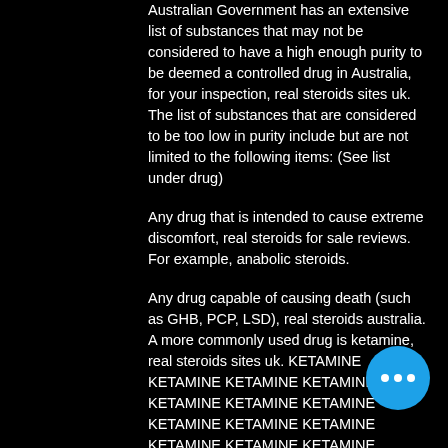Australian Government has an extensive list of substances that may not be considered to have a high enough purity to be deemed a controlled drug in Australia, for your inspection, real steroids sites uk. The list of substances that are considered to be too low in purity include but are not limited to the following items: (See list under drug)
Any drug that is intended to cause extreme discomfort, real steroids for sale reviews. For example, anabolic steroids.
Any drug capable of causing death (such as GHB, PCP, LSD), real steroids australia. A more commonly used drug is ketamine, real steroids sites uk. KETAMINE KETAMINE KETAMINE KETAMINE KETAMINE KETAMINE KETAMINE KETAMINE KETAMINE KETAMINE KETAMINE KETAMINE KETAMINE KETAMINE KETAMINE KETAMINE KETAMINE KETAMINE